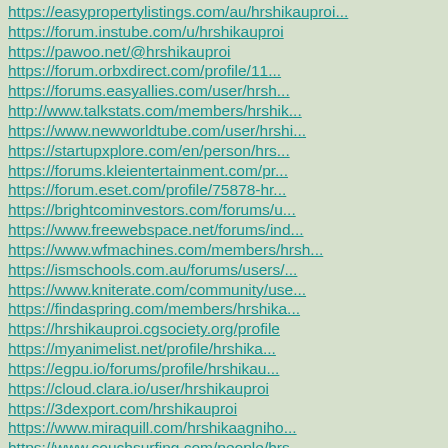https://easypropertylistings.com/au/hrshikauproi...
https://forum.instube.com/u/hrshikauproi
https://pawoo.net/@hrshikauproi
https://forum.orbxdirect.com/profile/11...
https://forums.easyallies.com/user/hrsh...
http://www.talkstats.com/members/hrshik...
https://www.newworldtube.com/user/hrshi...
https://startupxplore.com/en/person/hrs...
https://forums.kleientertainment.com/pr...
https://forum.eset.com/profile/75878-hr...
https://brightcominvestors.com/forums/u...
https://www.freewebspace.net/forums/ind...
https://www.wfmachines.com/members/hrsh...
https://ismschools.com.au/forums/users/...
https://www.kniterate.com/community/use...
https://findaspring.com/members/hrshika...
https://hrshikauproi.cgsociety.org/profile
https://myanimelist.net/profile/hrshika...
https://egpu.io/forums/profile/hrshikau...
https://cloud.clara.io/user/hrshikauproi
https://3dexport.com/hrshikauproi
https://www.miraquill.com/hrshikaagniho...
https://www.couchsurfing.com/people/hrs...
https://anyflip.com/homepage/owwxp/preview